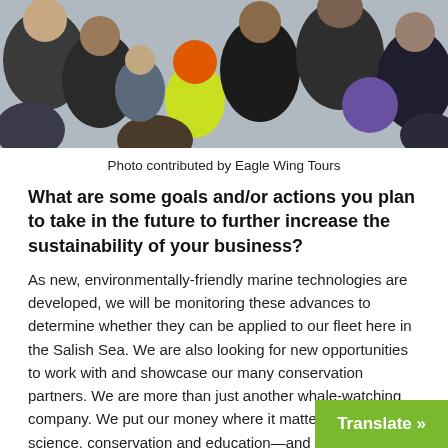[Figure (photo): Overhead view of a group of people, including a child wearing an orange hat and yellow jacket, gathered together]
Photo contributed by Eagle Wing Tours
What are some goals and/or actions you plan to take in the future to further increase the sustainability of your business?
As new, environmentally-friendly marine technologies are developed, we will be monitoring these advances to determine whether they can be applied to our fleet here in the Salish Sea. We are also looking for new opportunities to work with and showcase our many conservation partners. We are more than just another whale-watching company. We put our money where it matters most—science, conservation and education—and we use our platform to help inspire the next generation of ocean stewards for the future health of the Salish Sea and the world's oceans.